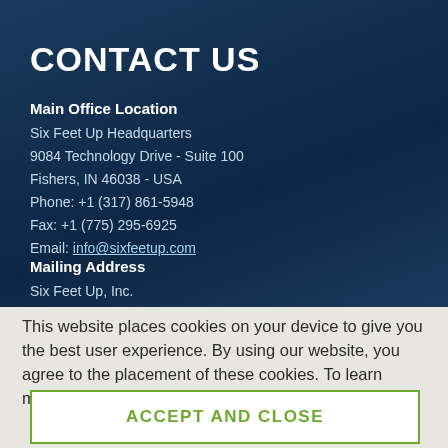CONTACT US
Main Office Location
Six Feet Up Headquarters
9084 Technology Drive - Suite 100
Fishers, IN 46038 - USA
Phone: +1 (317) 861-5948
Fax: +1 (775) 295-6925
Email: info@sixfeetup.com
Mailing Address
Six Feet Up, Inc.
This website places cookies on your device to give you the best user experience. By using our website, you agree to the placement of these cookies. To learn more, read our Privacy Policy.
ACCEPT AND CLOSE